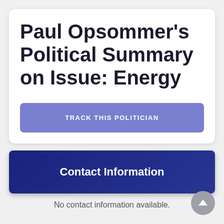Paul Opsommer's Political Summary on Issue: Energy
TRACK THIS POLITICIAN
Contact Information
No contact information available.